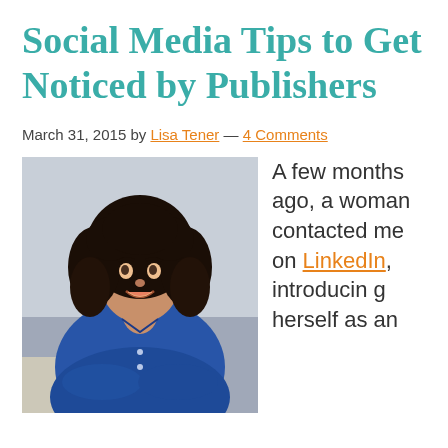Social Media Tips to Get Noticed by Publishers
March 31, 2015 by Lisa Tener — 4 Comments
[Figure (photo): Headshot of a woman with curly dark hair, smiling, wearing a blue jacket, seated in a light-colored chair.]
A few months ago, a woman contacted me on LinkedIn, introducing herself as an